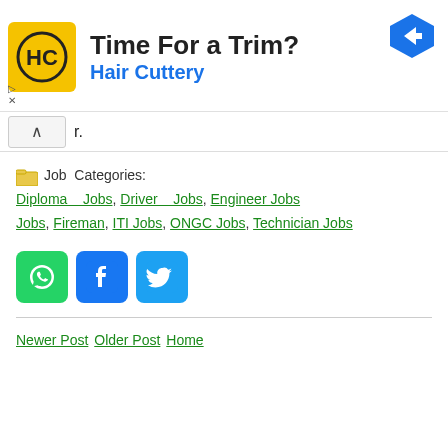[Figure (screenshot): Advertisement banner for Hair Cuttery with yellow HC logo, headline 'Time For a Trim?', brand name 'Hair Cuttery' in blue, and a blue navigation arrow icon on the right.]
r.
Job  Categories:  Diploma Jobs, Driver Jobs, Engineer Jobs, Fireman, ITI Jobs, ONGC Jobs, Technician Jobs
[Figure (infographic): Three social share buttons: WhatsApp (green), Facebook (blue), Twitter (light blue)]
Newer Post  Older Post  Home